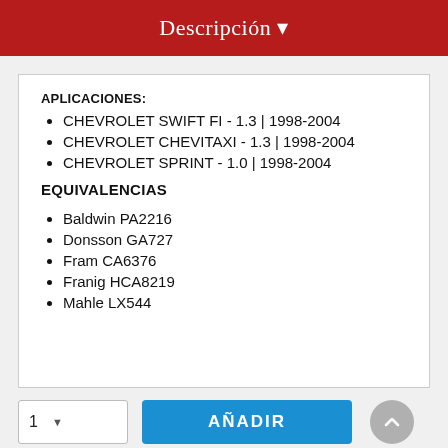Descripción ▾
APLICACIONES:
CHEVROLET SWIFT FI - 1.3 | 1998-2004
CHEVROLET CHEVITAXI - 1.3 | 1998-2004
CHEVROLET SPRINT - 1.0 | 1998-2004
EQUIVALENCIAS
Baldwin PA2216
Donsson GA727
Fram CA6376
Franig HCA8219
Mahle LX544